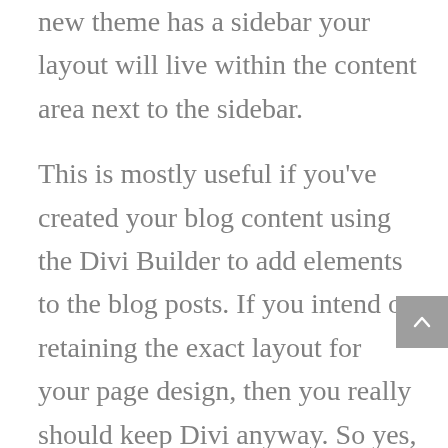new theme has a sidebar your layout will live within the content area next to the sidebar.

This is mostly useful if you've created your blog content using the Divi Builder to add elements to the blog posts. If you intend on retaining the exact layout for your page design, then you really should keep Divi anyway. So yes, you will need to do some design-work with your new